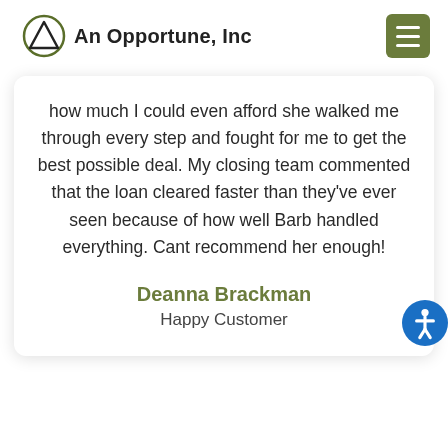An Opportune, Inc
how much I could even afford she walked me through every step and fought for me to get the best possible deal. My closing team commented that the loan cleared faster than they've ever seen because of how well Barb handled everything. Cant recommend her enough!
Deanna Brackman
Happy Customer